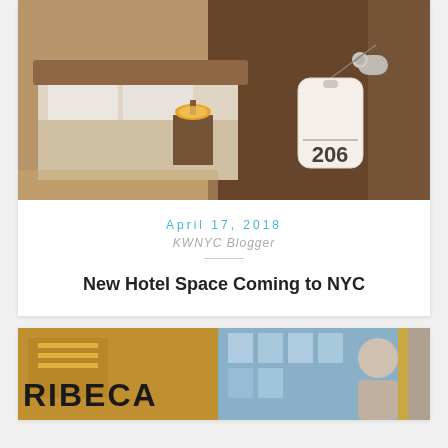[Figure (photo): Hotel room door with a key card tag showing number 206 hanging from the door handle, blurred hotel room with bed visible in background]
April 17, 2018
KWNYC Blogger
New Hotel Space Coming to NYC
[Figure (photo): Partial view of a building or hotel with RIBECA text visible and a person standing near the entrance]